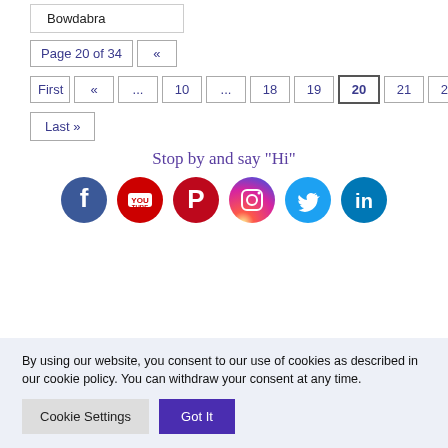Bowdabra
Page 20 of 34  «
First « ... 10 ... 18 19 20 21 22 ... 30 ... »
Last »
Stop by and say "Hi"
[Figure (illustration): Row of social media icons: Facebook, YouTube, Pinterest, Instagram, Twitter, LinkedIn]
By using our website, you consent to our use of cookies as described in our cookie policy. You can withdraw your consent at any time.
Cookie Settings   Got It